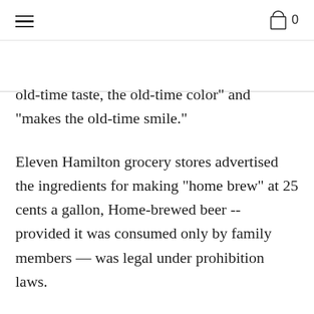≡  🛍 0
old-time taste, the old-time color" and "makes the old-time smile."
Eleven Hamilton grocery stores advertised the ingredients for making "home brew" at 25 cents a gallon, Home-brewed beer -- provided it was consumed only by family members — was legal under prohibition laws.
But the quiet start belied the prohibition-related problems and violence which soon would label Hamilton and vicinity as "Little Chicago," a haven for